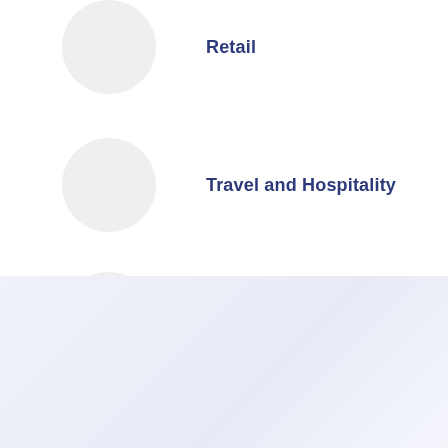Retail
Travel and Hospitality
Utilities